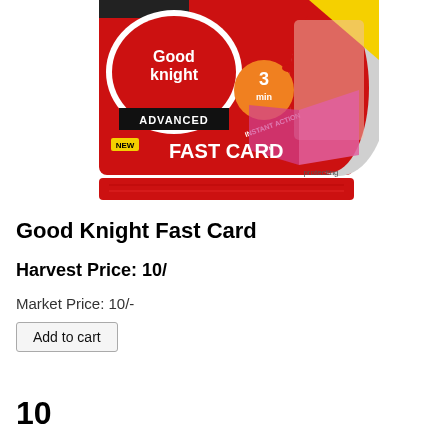[Figure (photo): Good Knight Advanced Fast Card product packaging — red bag with white oval logo reading 'Good knight', black strip with 'ADVANCED', circular badge '3 min INSTANT ACTION', family photo on right, pink card visible, 'NEW FAST CARD' text, 'protecting happy moments' text, red band at bottom.]
Good Knight Fast Card
Harvest Price: 10/
Market Price: 10/-
Add to cart
10